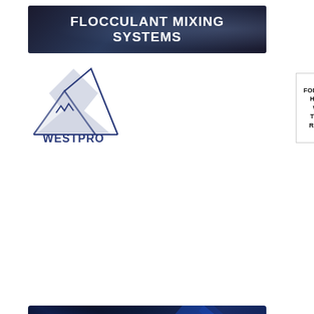[Figure (illustration): Flocculant Mixing Systems banner with dark blue/grey background and bold white uppercase text]
[Figure (logo): WestPro logo with mountain peak line drawing and WESTPRO text]
[Figure (logo): HRH Workforce logo box with text 'FOR ALL YOUR HR NEEDS, WE HAVE THE RIGHT RECRUITS!' and orange maple leaf/mountain badge]
[Figure (illustration): Accelerate Your Career newsletter promo banner with dark blue background, italic bold white headline, subtitle text, and Subscribe Now button]